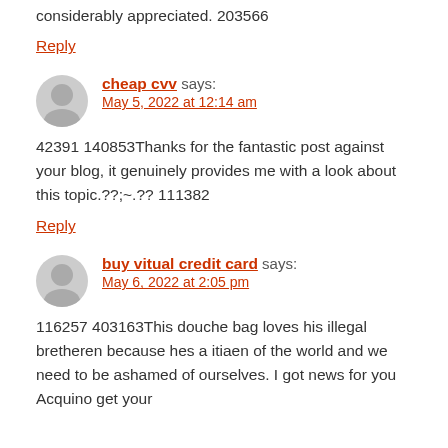considerably appreciated. 203566
Reply
cheap cvv says:
May 5, 2022 at 12:14 am
42391 140853Thanks for the fantastic post against your blog, it genuinely provides me with a look about this topic.??;~.?? 111382
Reply
buy vitual credit card says:
May 6, 2022 at 2:05 pm
116257 403163This douche bag loves his illegal bretheren because hes a itiaen of the world and we need to be ashamed of ourselves. I got news for you Acquino get your